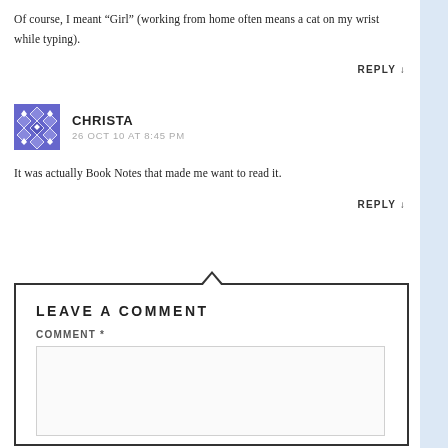Of course, I meant “Girl” (working from home often means a cat on my wrist while typing).
REPLY ↓
CHRISTA
26 OCT 10 AT 8:45 PM
It was actually Book Notes that made me want to read it.
REPLY ↓
LEAVE A COMMENT
COMMENT *